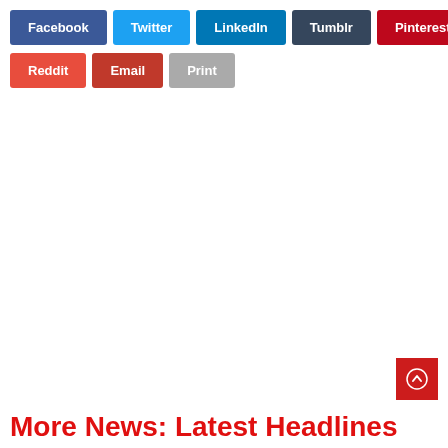Facebook
Twitter
LinkedIn
Tumblr
Pinterest
Reddit
Email
Print
More News: Latest Headlines